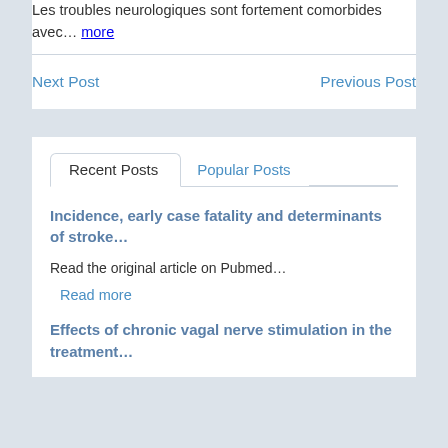Les troubles neurologiques sont fortement comorbides avec… more
Next Post
Previous Post
Recent Posts
Popular Posts
Incidence, early case fatality and determinants of stroke…
Read the original article on Pubmed…
Read more
Effects of chronic vagal nerve stimulation in the treatment…